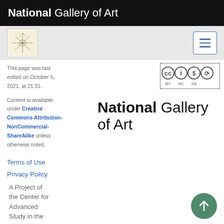National Gallery of Art
[Figure (logo): Small thumbnail image of artwork and hamburger menu button navigation bar]
This page was last edited on October 5, 2021, at 21:31.
[Figure (logo): Creative Commons BY-NC-SA license badge]
Content is available under Creative Commons Attribution-NonCommercial-ShareAlike unless otherwise noted.
[Figure (logo): National Gallery of Art large logo text]
Terms of Use
Privacy Policy
A Project of the Center for Advanced Study in the
[Figure (illustration): Green circular back-to-top arrow button]